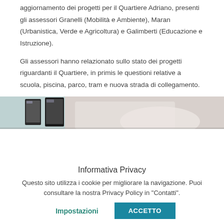aggiornamento dei progetti per il Quartiere Adriano, presenti gli assessori Granelli (Mobilità e Ambiente), Maran (Urbanistica, Verde e Agricoltura) e Galimberti (Educazione e Istruzione).
Gli assessori hanno relazionato sullo stato dei progetti riguardanti il Quartiere, in primis le questioni relative a scuola, piscina, parco, tram e nuova strada di collegamento.
[Figure (photo): Photo showing tablets/devices on a table with a person in white shirt in the background]
Informativa Privacy
Questo sito utilizza i cookie per migliorare la navigazione. Puoi consultare la nostra Privacy Policy in "Contatti".